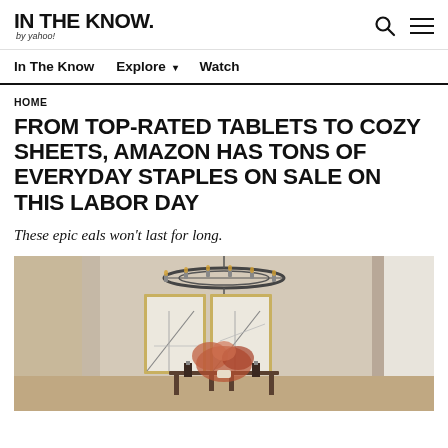IN THE KNOW. by yahoo!
In The Know   Explore ▾   Watch
HOME
FROM TOP-RATED TABLETS TO COZY SHEETS, AMAZON HAS TONS OF EVERYDAY STAPLES ON SALE ON THIS LABOR DAY
These epic eals won't last for long.
[Figure (photo): Interior room with a round chandelier, two framed mirrors on a beige wall, and an orange botanical arrangement on a console table]